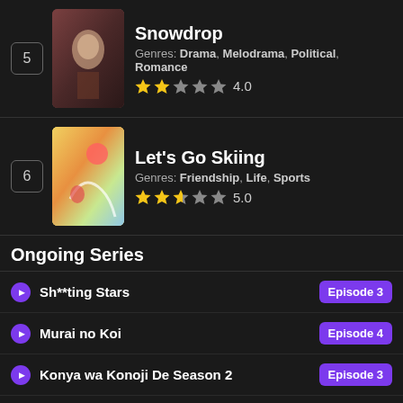5 Snowdrop Genres: Drama, Melodrama, Political, Romance Rating: 4.0
6 Let's Go Skiing Genres: Friendship, Life, Sports Rating: 5.0
Ongoing Series
Sh**ting Stars Episode 3
Murai no Koi Episode 4
Konya wa Konoji De Season 2 Episode 3
My Name Is Zhao Jia Di Episode 10
Aono-kun ni Sawaritai kara Shinitai
Farewell to Arms Episode 30
Forecasting Love and Weather Episode 16